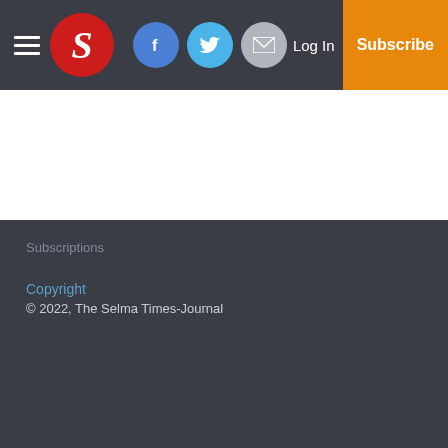Selma Times-Journal header with hamburger menu, S logo, Facebook, Twitter, Email icons, Log In, Subscribe
Subscriptions
Copyright
© 2022, The Selma Times-Journal